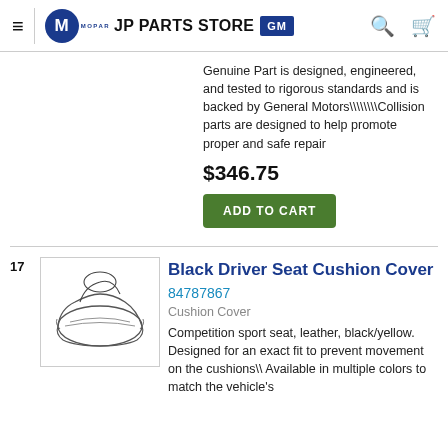JP PARTS STORE
Genuine Part is designed, engineered, and tested to rigorous standards and is backed by General Motors\\\\\\Collision parts are designed to help promote proper and safe repair
$346.75
ADD TO CART
Black Driver Seat Cushion Cover
84787867
Cushion Cover
Competition sport seat, leather, black/yellow. Designed for an exact fit to prevent movement on the cushions\ Available in multiple colors to match the vehicle's